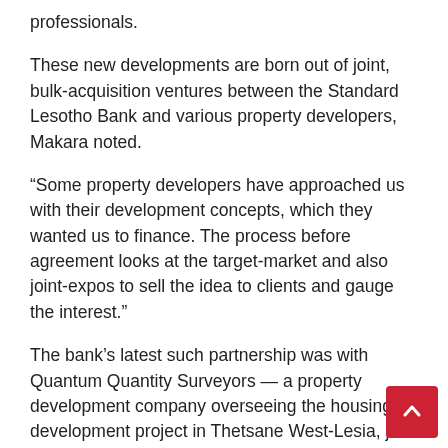professionals.
These new developments are born out of joint, bulk-acquisition ventures between the Standard Lesotho Bank and various property developers, Makara noted.
“Some property developers have approached us with their development concepts, which they wanted us to finance. The process before agreement looks at the target-market and also joint-expos to sell the idea to clients and gauge the interest.”
The bank’s latest such partnership was with Quantum Quantity Surveyors — a property development company overseeing the housing development project in Thetsane West-Lesia, just next to the Beautiful Gates Orphanage.
Beginning last year, 18 houses have been under construction, some of which are already occupied. The prices of the houses range depending on the size and